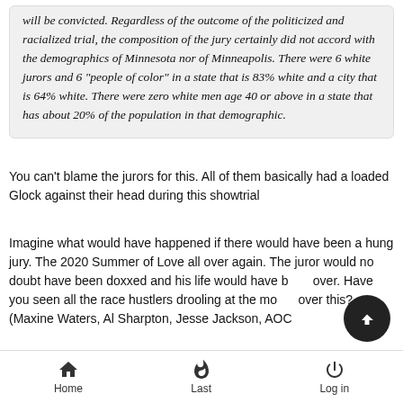will be convicted. Regardless of the outcome of the politicized and racialized trial, the composition of the jury certainly did not accord with the demographics of Minnesota nor of Minneapolis. There were 6 white jurors and 6 "people of color" in a state that is 83% white and a city that is 64% white. There were zero white men age 40 or above in a state that has about 20% of the population in that demographic.
You can't blame the jurors for this. All of them basically had a loaded Glock against their head during this showtrial
Imagine what would have happened if there would have been a hung jury. The 2020 Summer of Love all over again. The juror would no doubt have been doxxed and his life would have b… over. Have you seen all the race hustlers drooling at the mo… over this? (Maxine Waters, Al Sharpton, Jesse Jackson, AOC
Home   Last   Log in